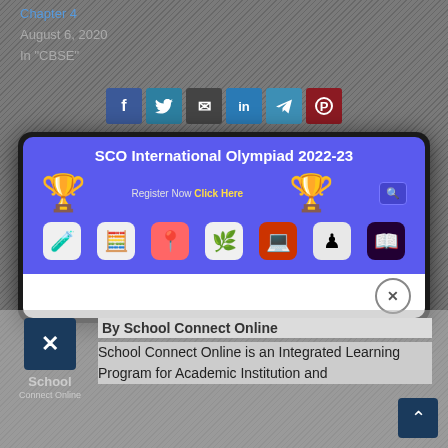Chapter 4
August 6, 2020
In "CBSE"
[Figure (infographic): Social media sharing icons: Facebook, Twitter, Email, LinkedIn, Telegram, Pinterest]
[Figure (screenshot): SCO International Olympiad 2022-23 promotional modal with trophy icons and app category icons, Register Now Click Here text, and a white bottom bar with close button]
[Figure (logo): School Connect Online logo - blue square with X symbol]
By School Connect Online
School Connect Online is an Integrated Learning Program for Academic Institution and